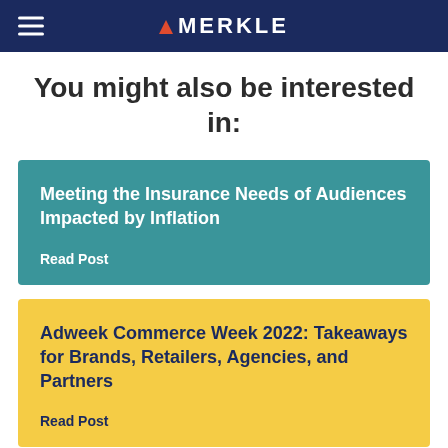MERKLE
You might also be interested in:
Meeting the Insurance Needs of Audiences Impacted by Inflation
Read Post
Adweek Commerce Week 2022: Takeaways for Brands, Retailers, Agencies, and Partners
Read Post